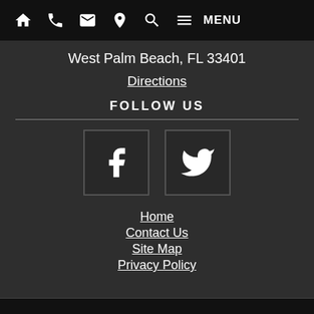Navigation bar with icons: home, phone, email, location, search, menu | MENU
West Palm Beach, FL 33401
Directions
FOLLOW US
[Figure (logo): Facebook icon (white 'f' on dark square background)]
[Figure (logo): Twitter bird icon (white bird on dark square background)]
Home
Contact Us
Site Map
Privacy Policy